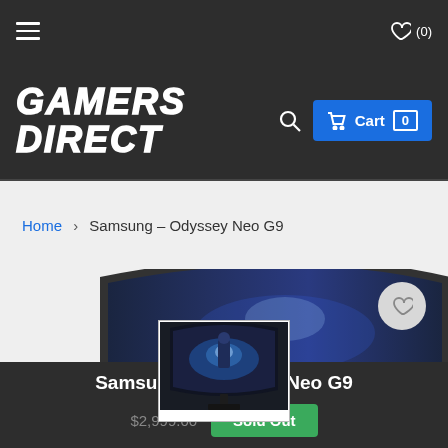Gamers Direct navigation bar with hamburger menu and wishlist icon (0)
[Figure (logo): Gamers Direct logo — bold italic white text on dark background — with search icon and blue Cart button showing count 0]
Home › Samsung – Odyssey Neo G9
[Figure (photo): Large partially visible curved ultra-wide gaming monitor (Samsung Odyssey Neo G9) on light grey background]
[Figure (photo): Small thumbnail image of Samsung Odyssey Neo G9 monitor with blue gaming wallpaper on white background]
Samsung – Odyssey Neo G9
$2,999.00
Sold Out